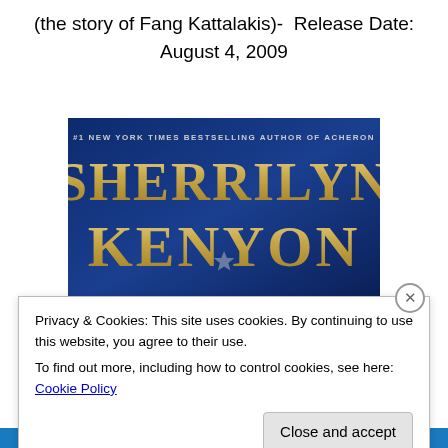(the story of Fang Kattalakis)- Release Date: August 4, 2009
[Figure (photo): Book cover crop showing author name 'SHERRILYN KENYON' in large gold letters on a dark blue/navy textured background, with small text '#1 NEW YORK TIMES BESTSELLING AUTHOR OF ACHERON' at the top]
Privacy & Cookies: This site uses cookies. By continuing to use this website, you agree to their use.
To find out more, including how to control cookies, see here: Cookie Policy